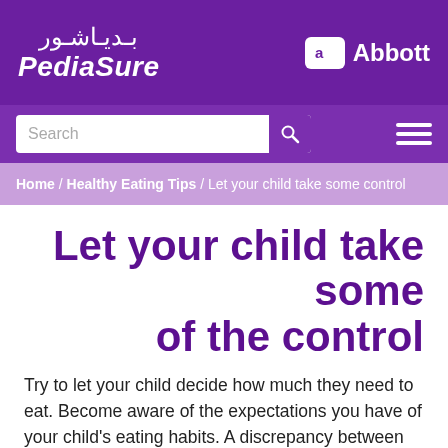PediaSure | Abbott
[Figure (logo): PediaSure logo with Arabic text and Abbott logo on purple background]
Search / Navigation menu
Home / Healthy Eating Tips / Let your child take some control
Let your child take some of the control
Try to let your child decide how much they need to eat. Become aware of the expectations you have of your child's eating habits. A discrepancy between expectations and reality can often cause stress. It can help reduce parents' frustration to realise what their child has actually eaten as